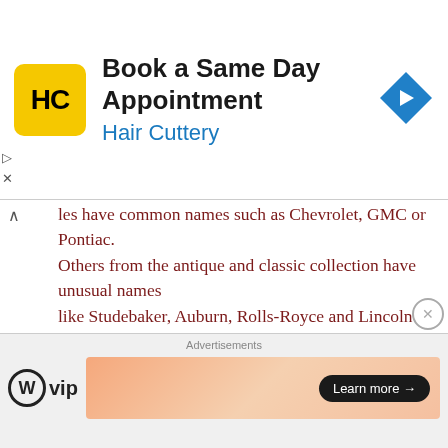[Figure (screenshot): Hair Cuttery advertisement banner: yellow square logo with HC initials, 'Book a Same Day Appointment' title, 'Hair Cuttery' subtitle in blue, blue diamond navigation icon on right]
les have common names such as Chevrolet, GMC or Pontiac. Others from the antique and classic collection have unusual names like Studebaker, Auburn, Rolls-Royce and Lincoln just to name a few. John has one called a Packard that is black with a rumble seat and was made in 1935, the year he was born. I would love to ride in it someday! I would wear my dark goggles and flashy scarf and feel the breeze running through my ears – it sure would beat putting my
[Figure (screenshot): Bottom advertisements area: 'Advertisements' label, WordPress VIP logo on left, peach/orange gradient ad banner with 'Learn more →' button on right]